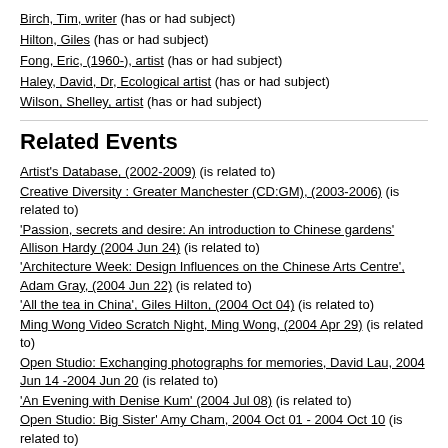Birch, Tim, writer (has or had subject)
Hilton, Giles (has or had subject)
Fong, Eric, (1960-), artist (has or had subject)
Haley, David, Dr, Ecological artist (has or had subject)
Wilson, Shelley, artist (has or had subject)
Related Events
Artist's Database, (2002-2009) (is related to)
Creative Diversity : Greater Manchester (CD:GM), (2003-2006) (is related to)
'Passion, secrets and desire: An introduction to Chinese gardens' Allison Hardy (2004 Jun 24) (is related to)
'Architecture Week: Design Influences on the Chinese Arts Centre', Adam Gray, (2004 Jun 22) (is related to)
'All the tea in China', Giles Hilton, (2004 Oct 04) (is related to)
Ming Wong Video Scratch Night, Ming Wong, (2004 Apr 29) (is related to)
Open Studio: Exchanging photographs for memories, David Lau, 2004 Jun 14 -2004 Jun 20 (is related to)
'An Evening with Denise Kum' (2004 Jul 08) (is related to)
Open Studio: Big Sister' Amy Cham, 2004 Oct 01 - 2004 Oct 10 (is related to)
'An Evening with Amy Cham', Amy Cham, (2004 Oct 05) (is related to)
Talk: 'Tim Birch on the Turner Prize', Tim Birch, 2004 Dec 06 (is related to)
Chinese Art Centre 1st Anniversary, 2004 Dec 02 (is related to)
'Inspired by Water Works', David Haley, (2005 Feb 08) (is related to)
'Tooling up the Chinese Arts Sector' Seminar, (2004 Sep 10) (is related to)